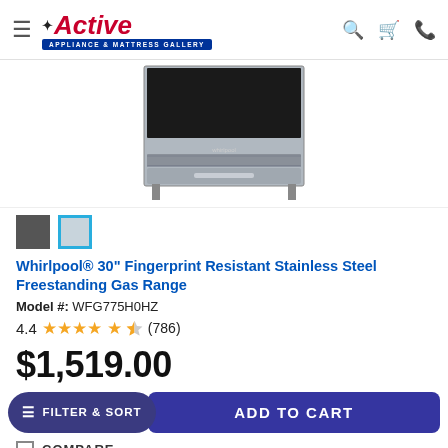Active Appliance & Mattress Gallery
[Figure (photo): Whirlpool 30-inch Fingerprint Resistant Stainless Steel Freestanding Gas Range product image, showing front view with black cooktop and stainless steel body]
Color swatches: dark/black and light/stainless steel (selected)
Whirlpool® 30" Fingerprint Resistant Stainless Steel Freestanding Gas Range
Model #: WFG775H0HZ
4.4 ★★★★½ (786)
$1,519.00
ADD TO CART
COMPARE